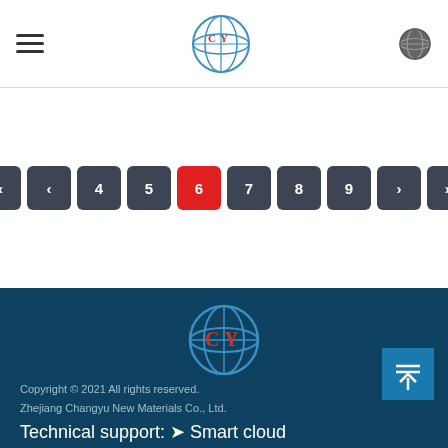CY logo header with hamburger menu and globe icon
[Figure (other): Pagination bar showing pages 4, 5, 6 (active/red), 7, 8, 9 with first/prev/next/last navigation buttons]
[Figure (logo): CY globe logo in footer area]
Copyright © 2021 All rights reserved. Zhejiang Changyu New Materials Co., Ltd. Technical support: Smart cloud Login